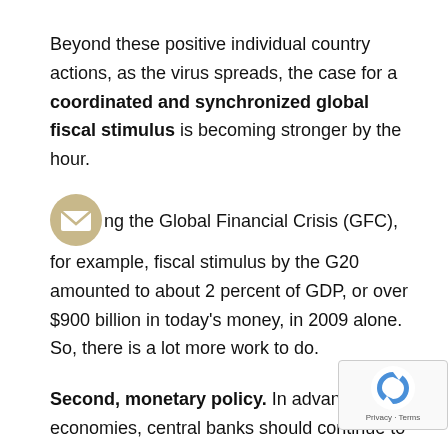Beyond these positive individual country actions, as the virus spreads, the case for a coordinated and synchronized global fiscal stimulus is becoming stronger by the hour.
During the Global Financial Crisis (GFC), for example, fiscal stimulus by the G20 amounted to about 2 percent of GDP, or over $900 billion in today's money, in 2009 alone. So, there is a lot more work to do.
Second, monetary policy. In advanced economies, central banks should continue to support demand and boost confidence by easing financial conditions and ensuring the flow of credit to the real economy. For example, the U.S. Federal Reserve just announced further interest rate cuts, asset purchases, forward guidance and a drop in reserve requirements.